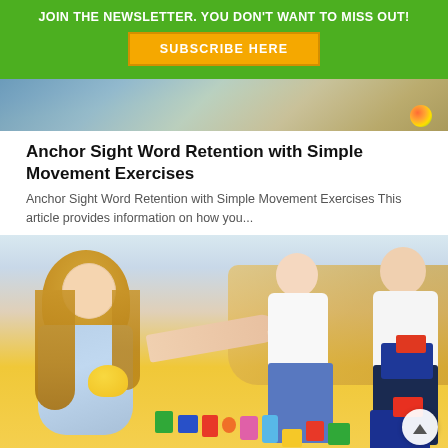JOIN THE NEWSLETTER. YOU DON'T WANT TO MISS OUT!
SUBSCRIBE HERE
[Figure (photo): Partial photo of children at a classroom table, top portion visible]
Anchor Sight Word Retention with Simple Movement Exercises
Anchor Sight Word Retention with Simple Movement Exercises This article provides information on how you...
[Figure (photo): Children playing with colorful building blocks and toys on the floor, with a teacher or adult pointing. A girl with long blonde hair in a blue dress holds a yellow toy in the foreground, two children in white shirts play in the background.]